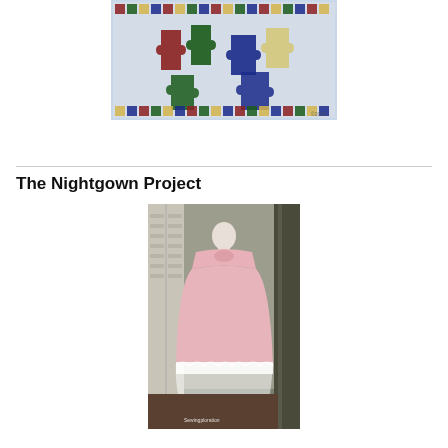[Figure (photo): A colorful patchwork quilt with star-like puzzle piece shapes in red, green, blue, and beige on a white background with small square border pattern.]
The Nightgown Project
[Figure (photo): A pink nightgown displayed on a mannequin in front of white shuttered doors. The gown has a gathered yoke and lace trim at the hem.]